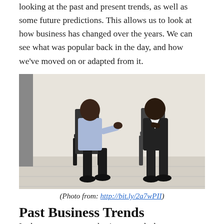looking at the past and present trends, as well as some future predictions. This allows us to look at how business has changed over the years. We can see what was popular back in the day, and how we've moved on or adapted from it.
[Figure (photo): Two businessmen sitting on chairs facing each other in conversation. The man on the left wears a light blue shirt and dark pants and appears to be gesturing, while the man on the right wears a dark suit and has his hand on his chin in a thoughtful pose.]
(Photo from: http://bit.ly/2a7wPII)
Past Business Trends
In the past, we can see business trends that...